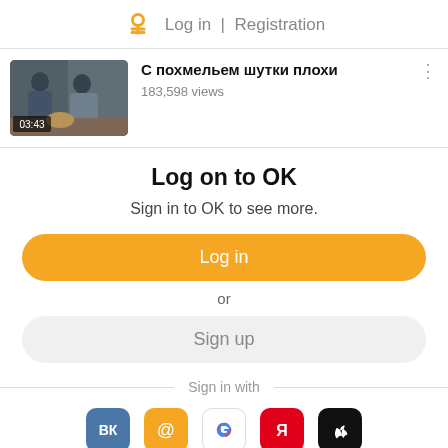Log in | Registration
[Figure (screenshot): Video thumbnail showing two people in a kitchen, duration 03:43]
С похмельем шутки плохи
183,598 views
Log on to OK
Sign in to OK to see more.
Log in
or
Sign up
Sign in with
[Figure (logo): Social login icons: VK, Mail.ru, Google, Yandex, Apple]